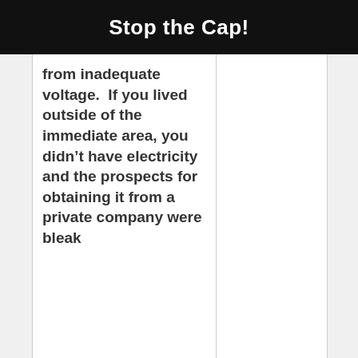Stop the Cap!
from inadequate voltage.  If you lived outside of the immediate area, you didn’t have electricity and the prospects for obtaining it from a private company were bleak